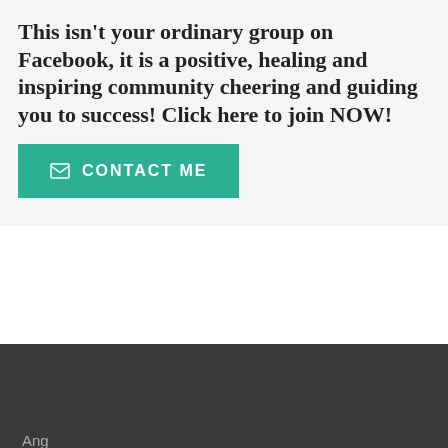This isn't your ordinary group on Facebook, it is a positive, healing and inspiring community cheering and guiding you to success! Click here to join NOW!
[Figure (other): Teal/green button with envelope icon and text 'CONTACT ME']
Ang
Angela Noel...